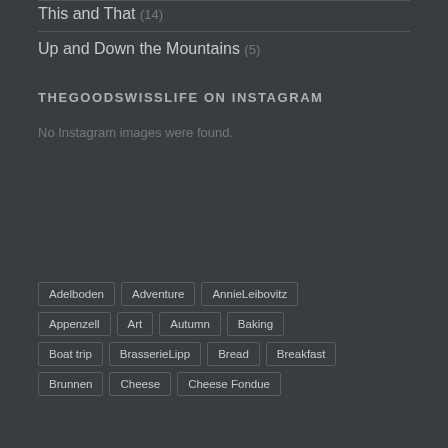This and That (14)
Up and Down the Mountains (5)
THEGOODSWISSLIFE ON INSTAGRAM
No Instagram images were found.
Adelboden
Adventure
AnnieLeibovitz
Appenzell
Art
Autumn
Baking
Boat trip
BrasserieLipp
Bread
Breakfast
Brunnen
Cheese
Cheese Fondue